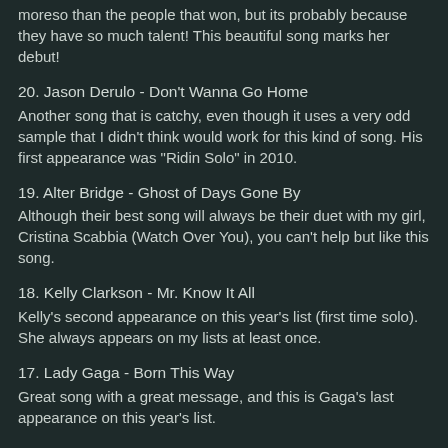moreso than the people that won, but its probably because they have so much talent! This beautiful song marks her debut!
20. Jason Derulo - Don't Wanna Go Home
Another song that is catchy, even though it uses a very odd sample that I didn't think would work for this kind of song. His first appearance was "Ridin Solo" in 2010.
19. Alter Bridge - Ghost of Days Gone By
Although their best song will always be their duet with my girl, Cristina Scabbia (Watch Over You), you can't help but like this song.
18. Kelly Clarkson - Mr. Know It All
Kelly's second appearance on this year's list (first time solo). She always appears on my lists at least once.
17. Lady Gaga - Born This Way
Great song with a great message, and this is Gaga's last appearance on this year's list.